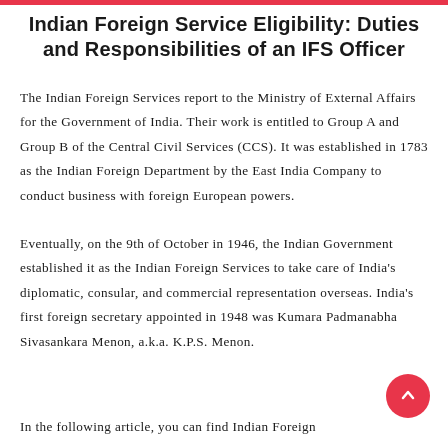Indian Foreign Service Eligibility: Duties and Responsibilities of an IFS Officer
The Indian Foreign Services report to the Ministry of External Affairs for the Government of India. Their work is entitled to Group A and Group B of the Central Civil Services (CCS). It was established in 1783 as the Indian Foreign Department by the East India Company to conduct business with foreign European powers.
Eventually, on the 9th of October in 1946, the Indian Government established it as the Indian Foreign Services to take care of India's diplomatic, consular, and commercial representation overseas. India's first foreign secretary appointed in 1948 was Kumara Padmanabha Sivasankara Menon, a.k.a. K.P.S. Menon.
In the following article, you can find Indian Foreign